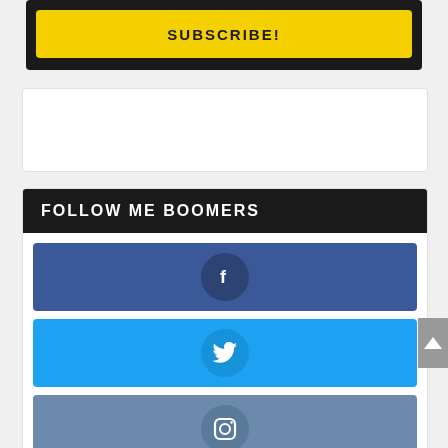[Figure (screenshot): Subscribe button with yellow background on dark panel]
[Figure (screenshot): Empty white box placeholder]
FOLLOW ME BOOMERS
[Figure (screenshot): Facebook social button - dark blue with Facebook icon circle]
[Figure (screenshot): Twitter social button - light blue with Twitter bird icon circle]
[Figure (screenshot): Instagram social button - slate blue with Instagram icon circle]